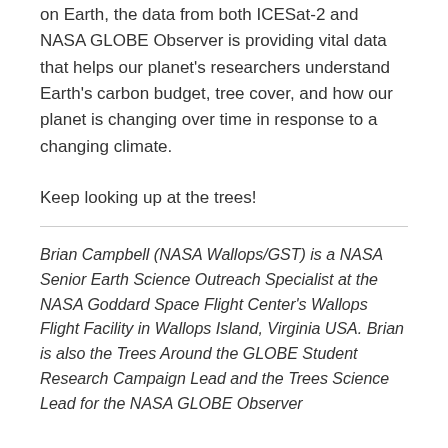on Earth, the data from both ICESat-2 and NASA GLOBE Observer is providing vital data that helps our planet's researchers understand Earth's carbon budget, tree cover, and how our planet is changing over time in response to a changing climate.
Keep looking up at the trees!
Brian Campbell (NASA Wallops/GST) is a NASA Senior Earth Science Outreach Specialist at the NASA Goddard Space Flight Center's Wallops Flight Facility in Wallops Island, Virginia USA. Brian is also the Trees Around the GLOBE Student Research Campaign Lead and the Trees Science Lead for the NASA GLOBE Observer